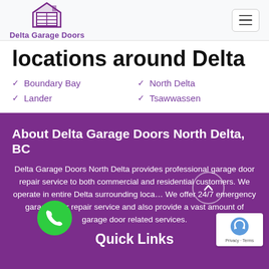Delta Garage Doors
locations around Delta
Boundary Bay
Lander
North Delta
Tsawwassen
About Delta Garage Doors North Delta, BC
Delta Garage Doors North Delta provides professional garage door repair service to both commercial and residential customers. We operate in entire Delta surrounding locations. We offer 24/7 emergency garage door repair service and also provide a vast amount of garage door related services.
Quick Links